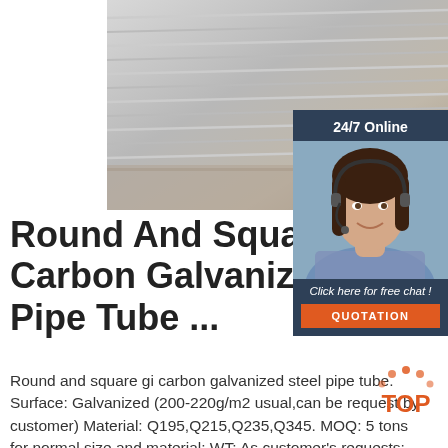[Figure (photo): Stack of galvanized steel sheets/panels stacked horizontally, showing ridged metallic surface]
[Figure (infographic): 24/7 Online chat widget with woman wearing headset and buttons: Click here for free chat! and QUOTATION]
Round And Square Gi Carbon Galvanized Ste Pipe Tube ...
Round and square gi carbon galvanized steel pipe tube. Surface: Galvanized (200-220g/m2 usual,can be request by customer) Material: Q195,Q215,Q235,Q345. MOQ: 5 tons for normal size and material: WT: As customer's requests: Payment terms: TT deposit + the balanced against